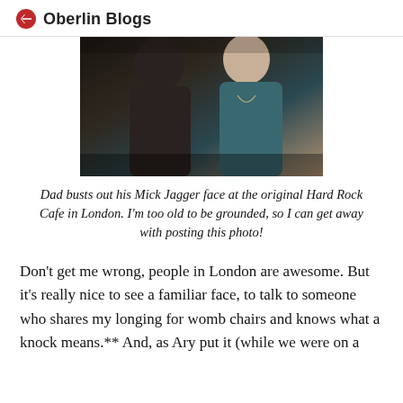Oberlin Blogs
[Figure (photo): Two people at a restaurant/bar, one making a face, dark background]
Dad busts out his Mick Jagger face at the original Hard Rock Cafe in London. I'm too old to be grounded, so I can get away with posting this photo!
Don't get me wrong, people in London are awesome. But it's really nice to see a familiar face, to talk to someone who shares my longing for womb chairs and knows what a knock means.** And, as Ary put it (while we were on a